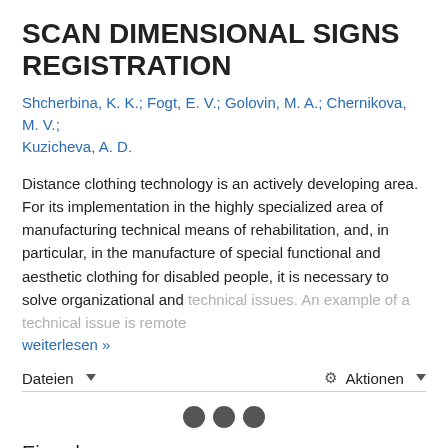SCAN DIMENSIONAL SIGNS REGISTRATION
Shcherbina, K. K.; Fogt, E. V.; Golovin, M. A.; Chernikova, M. V.; Kuzicheva, A. D.
Distance clothing technology is an actively developing area. For its implementation in the highly specialized area of manufacturing technical means of rehabilitation, and, in particular, in the manufacture of special functional and aesthetic clothing for disabled people, it is necessary to solve organizational and technical issues. An example of a technical issue is remote
weiterlesen »
Dateien
Aktionen
Einordnung
Erschienen in: ISPRS - International Archives of the Photogrammetry, Remote Sensing and